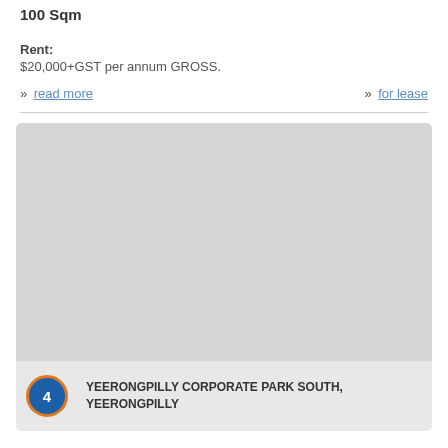100 Sqm
Rent:
$20,000+GST per annum GROSS.
» read more    » for lease
[Figure (photo): Property listing image placeholder - grey rectangle]
4 YEERONGPILLY CORPORATE PARK SOUTH, YEERONGPILLY